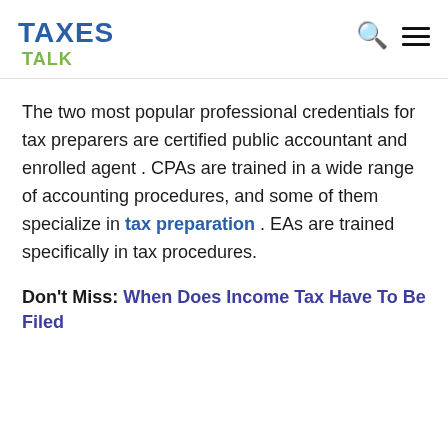TAXES TALK
The two most popular professional credentials for tax preparers are certified public accountant and enrolled agent . CPAs are trained in a wide range of accounting procedures, and some of them specialize in tax preparation . EAs are trained specifically in tax procedures.
Don't Miss: When Does Income Tax Have To Be Filed